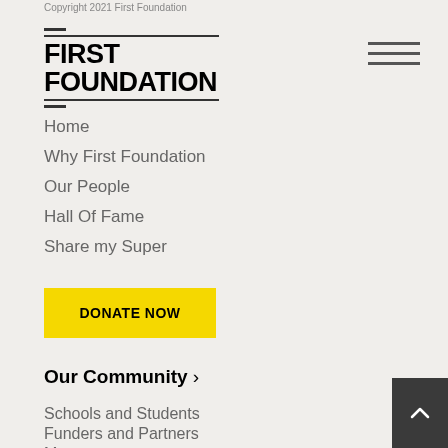Copyright 2021 First Foundation
[Figure (logo): First Foundation logo with bold stacked text and horizontal rules]
[Figure (other): Hamburger menu icon with three horizontal lines]
Home
Why First Foundation
Our People
Hall Of Fame
Share my Super
DONATE NOW
Our Community >
Schools and Students
Funders and Partners
Mentors